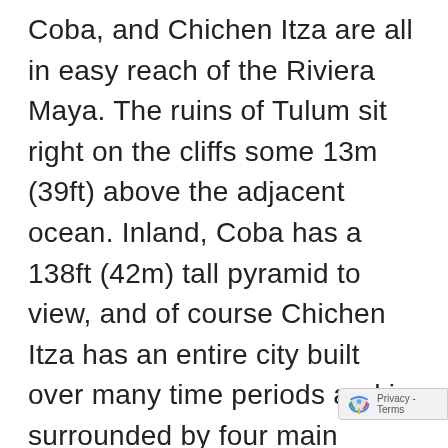Coba, and Chichen Itza are all in easy reach of the Riviera Maya. The ruins of Tulum sit right on the cliffs some 13m (39ft) above the adjacent ocean. Inland, Coba has a 138ft (42m) tall pyramid to view, and of course Chichen Itza has an entire city built over many time periods and is surrounded by four main cenotes. These once vast cities all but disappeared and were covered by the surrounding jungles soon after the Spanish appeared. The Spanish soldiers and explorers were quick to collect, under pain of death, any go...